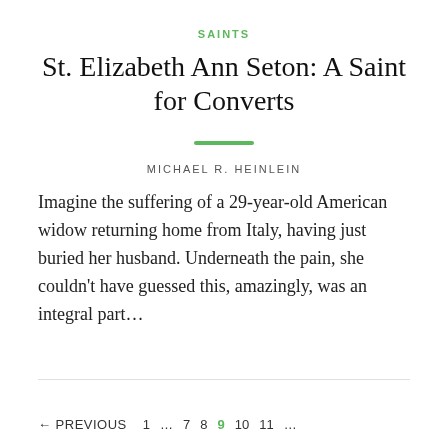SAINTS
St. Elizabeth Ann Seton: A Saint for Converts
MICHAEL R. HEINLEIN
Imagine the suffering of a 29-year-old American widow returning home from Italy, having just buried her husband. Underneath the pain, she couldn't have guessed this, amazingly, was an integral part...
← PREVIOUS   1   ...   7   8   9   10   11   ...